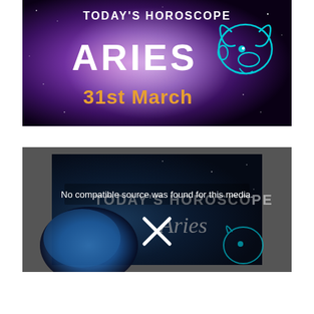[Figure (screenshot): Horoscope thumbnail image with purple galaxy background. Text reads 'TODAY'S HOROSCOPE' at top, 'ARIES' in large white bold letters, a cyan ram zodiac symbol on the right, and '31st March' in orange/gold text below.]
[Figure (screenshot): Video player screenshot with dark space/planet background showing 'No compatible source was found for this media.' error message in white text, with 'TODAY'S HOROSCOPE' and 'Aries' text partially visible behind it, cyan ram symbol, and an X close button overlaid.]